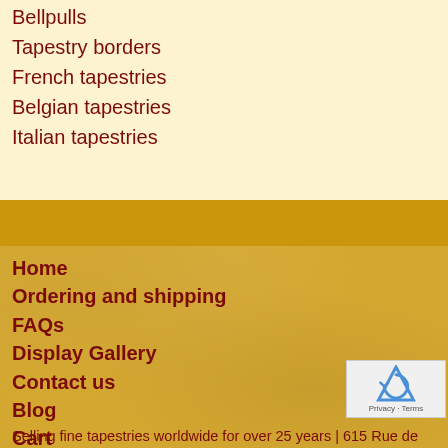Bellpulls
Tapestry borders
French tapestries
Belgian tapestries
Italian tapestries
Home
Ordering and shipping
FAQs
Display Gallery
Contact us
Blog
Cart
Selling fine tapestries worldwide for over 25 years | 615 Rue de